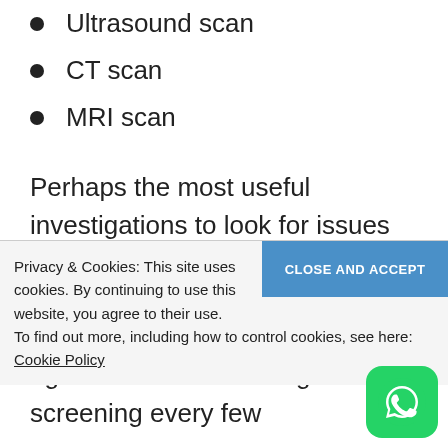Ultrasound scan
CT scan
MRI scan
Perhaps the most useful investigations to look for issues and exclude cancer will be the oesophagoscopy and a colonoscopy. People over the age of 50 should undergo screening every few
Privacy & Cookies: This site uses cookies. By continuing to use this website, you agree to their use.
To find out more, including how to control cookies, see here: Cookie Policy
[Figure (logo): WhatsApp icon button (green rounded square with white phone/chat logo)]